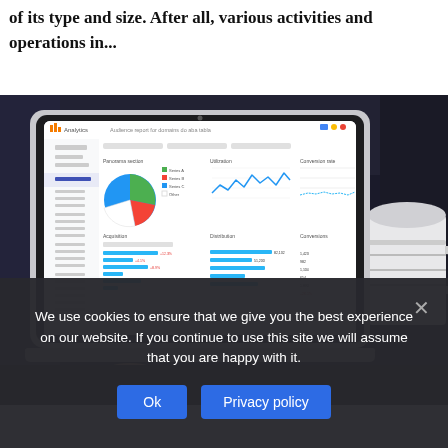of its type and size. After all, various activities and operations in...
[Figure (screenshot): Laptop (MacBook Air) displaying a Google Analytics dashboard with pie chart, line chart, and bar charts. A white coffee mug sits to the right. Person's hands visible at bottom of keyboard.]
We use cookies to ensure that we give you the best experience on our website. If you continue to use this site we will assume that you are happy with it.